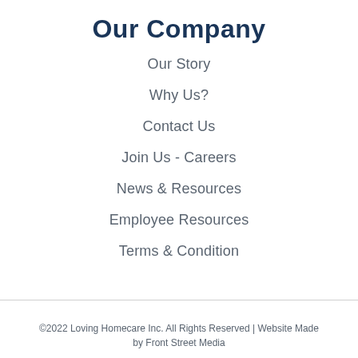Our Company
Our Story
Why Us?
Contact Us
Join Us - Careers
News & Resources
Employee Resources
Terms & Condition
©2022 Loving Homecare Inc. All Rights Reserved | Website Made by Front Street Media